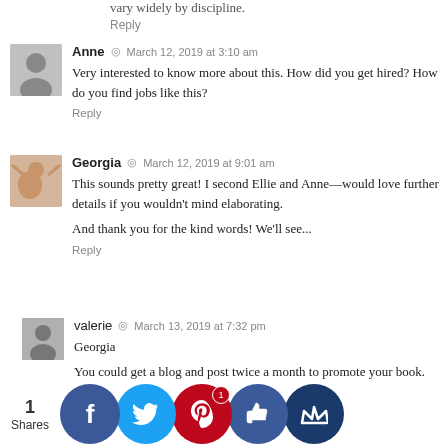vary widely by discipline.
Reply
Anne  ◎  March 12, 2019 at 3:10 am
Very interested to know more about this. How did you get hired? How do you find jobs like this?
Reply
Georgia  ◎  March 12, 2019 at 9:01 am
This sounds pretty great! I second Ellie and Anne—would love further details if you wouldn't mind elaborating.

And thank you for the kind words! We'll see...
Reply
valerie  ◎  March 13, 2019 at 7:32 pm
Georgia
You could get a blog and post twice a month to promote your book.

You don't have to totally loose the pastries you could ...y them ...other w...d go o...c the o...aturda...ry just ...month ...e pastr
1
Shares